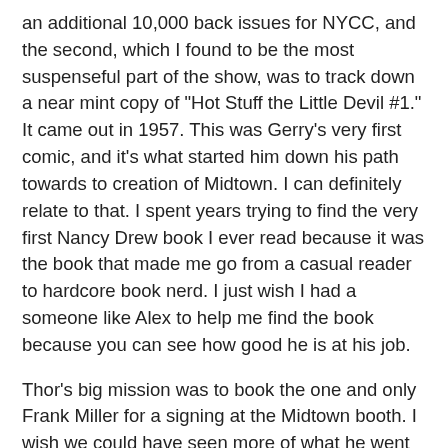an additional 10,000 back issues for NYCC, and the second, which I found to be the most suspenseful part of the show, was to track down a near mint copy of "Hot Stuff the Little Devil #1." It came out in 1957. This was Gerry's very first comic, and it's what started him down his path towards to creation of Midtown. I can definitely relate to that. I spent years trying to find the very first Nancy Drew book I ever read because it was the book that made me go from a casual reader to hardcore book nerd. I just wish I had a someone like Alex to help me find the book because you can see how good he is at his job.
Thor's big mission was to book the one and only Frank Miller for a signing at the Midtown booth. I wish we could have seen more of what he went through, but instead we were treated to seeing some of the other aspects of his job, such as getting people hyped up for NYCC.
Last year, Midtown threw a "Not at Comic-Con" party for those of us who couldn't make it out west for SDCC. Wilderowens and I went and had tons of fun. I knew there was filming going on, but I didn't know it was for this. You